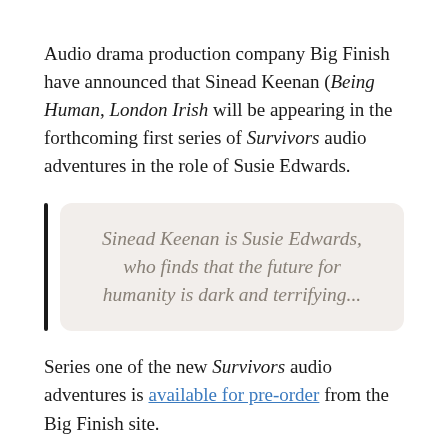Audio drama production company Big Finish have announced that Sinead Keenan (Being Human, London Irish will be appearing in the forthcoming first series of Survivors audio adventures in the role of Susie Edwards.
Sinead Keenan is Susie Edwards, who finds that the future for humanity is dark and terrifying...
Series one of the new Survivors audio adventures is available for pre-order from the Big Finish site.